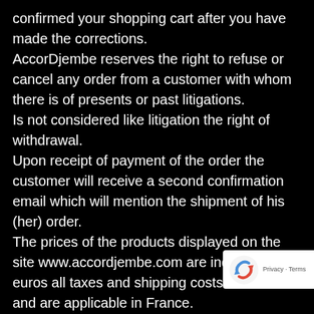confirmed your shopping cart after you have made the corrections.
AccorDjembe reserves the right to refuse or cancel any order from a customer with whom there is of presents or past litigations.
Is not considered like litigation the right of withdrawal.
Upon receipt of payment of the order the customer will receive a second confirmation email which will mention the shipment of his (her) order.
The prices of the products displayed on the site www.accordjembe.com are indicated in euros all taxes and shipping costs included and are applicable in France.
All orders are payable in euros.
The products will be invoiced on the basis of the c rate at the time of the confirmation of the order su to availability on this date.
[Figure (logo): reCAPTCHA badge with Privacy - Terms text]